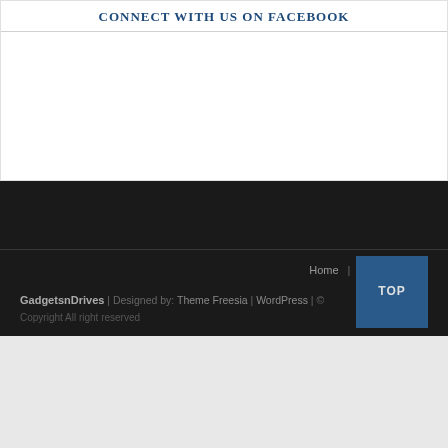CONNECT WITH US ON FACEBOOK
Home | Privacy Policy
GadgetsnDrives | Designed by: Theme Freesia | WordPress | © Copyright All right reserved